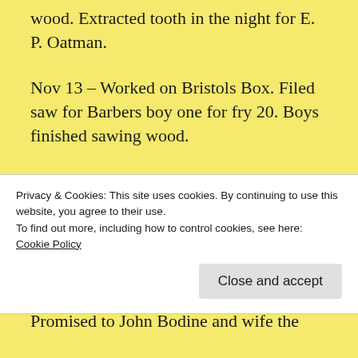wood. Extracted tooth in the night for E. P. Oatman.
Nov 13 – Worked on Bristols Box. Filed saw for Barbers boy one for fry 20. Boys finished sawing wood.
Nov 14 – Worked on box. Patty & Catharine went to Battle Creek.
Nov 15 – Bushed hub for A. Chipman 50¢. Filed
Privacy & Cookies: This site uses cookies. By continuing to use this website, you agree to their use.
To find out more, including how to control cookies, see here: Cookie Policy
Close and accept
Promised to John Bodine and wife the